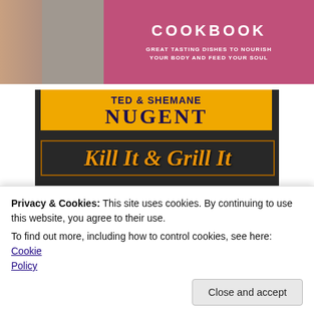[Figure (photo): Top portion of a book cover showing text 'COOKBOOK' and subtitle 'GREAT TASTING DISHES TO NOURISH YOUR BODY AND FEED YOUR SOUL' on a pink/magenta banner]
[Figure (photo): Book cover for 'Kill It & Grill It' by Ted & Shemane Nugent. Dark textured background with gold/orange title text. Subtitle: 'A Guide to Preparing and Cooking Wild Game and Fish'. Shows person with wild colorful hair peeking up from bottom.]
Privacy & Cookies: This site uses cookies. By continuing to use this website, you agree to their use.
To find out more, including how to control cookies, see here: Cookie Policy
Close and accept